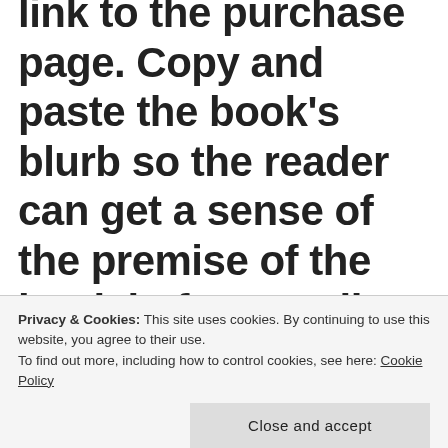link to the purchase page. Copy and paste the book's blurb so the reader can get a sense of the premise of the book before reading your review. And if you're
Privacy & Cookies: This site uses cookies. By continuing to use this website, you agree to their use. To find out more, including how to control cookies, see here: Cookie Policy
Close and accept
intro to the review. How